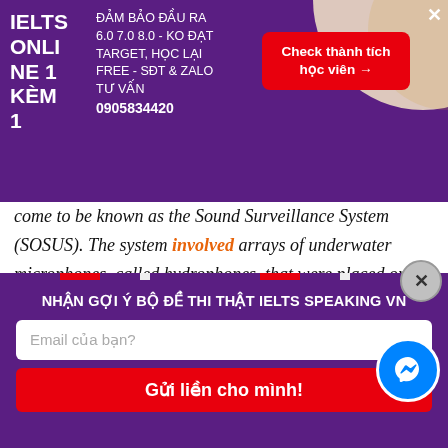[Figure (infographic): Purple advertisement banner for IELTS ONLINE 1 KEM 1 course. Text: 'IELTS ONLINE 1 KEM 1' on left, 'ĐẢM BẢO ĐẦU RA 6.0 7.0 8.0 - KO ĐẠT TARGET, HỌC LẠI FREE - SĐT & ZALO TƯ VẤN 0905834420' in center, red button 'Check thành tích học viên →' on right.]
come to be known as the Sound Surveillance System (SOSUS). The system involved arrays of underwater microphones, called hydrophones, that were placed on the ocean bottom and connected by cables to onshore processing centers. With SOSUS deployed in both deep and shallow water along both coasts of North America and
[Figure (infographic): Bottom purple panel with Vietnamese text 'NHẬN GỢI Ý BỘ ĐỀ THI THẬT IELTS SPEAKING VN', email input field with placeholder 'Email của bạn?', and red button 'Gửi liền cho mình!'. Messenger icon circle on the right.]